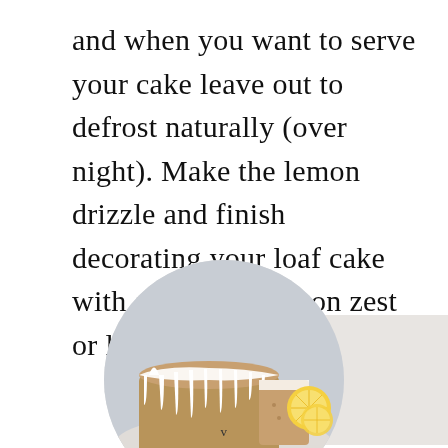and when you want to serve your cake leave out to defrost naturally (over night). Make the lemon drizzle and finish decorating your loaf cake with additional lemon zest or lemon sugar decorations.
[Figure (photo): A lemon drizzle loaf cake with white icing dripping over the sides, sliced to show the interior, with lemon slices beside it, displayed in a circular photo frame over a light background.]